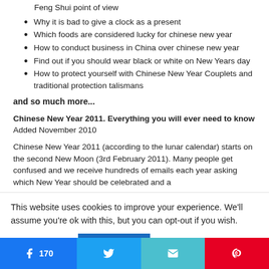Feng Shui point of view
Why it is bad to give a clock as a present
Which foods are considered lucky for chinese new year
How to conduct business in China over chinese new year
Find out if you should wear black or white on New Years day
How to protect yourself with Chinese New Year Couplets and traditional protection talismans
and so much more...
Chinese New Year 2011. Everything you will ever need to know Added November 2010
Chinese New Year 2011 (according to the lunar calendar) starts on the second New Moon (3rd February 2011). Many people get confused and we receive hundreds of emails each year asking which New Year should be celebrated and a...e...
This website uses cookies to improve your experience. We'll assume you're ok with this, but you can opt-out if you wish.
Cookie settings  ACCEPT